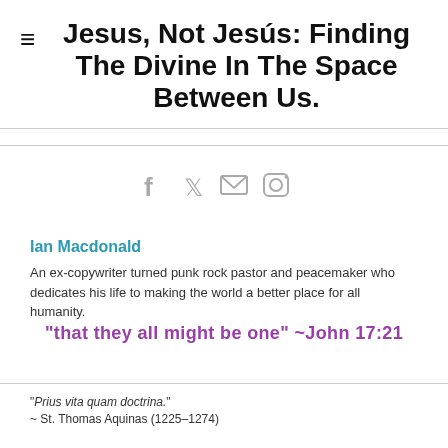Jesus, Not Jesús: Finding The Divine In The Space Between Us.
[Figure (infographic): Social media share icons: Facebook, Twitter, Email, Instagram in gray]
Ian Macdonald
An ex-copywriter turned punk rock pastor and peacemaker who dedicates his life to making the world a better place for all humanity.
"that they all might be one"  ~John 17:21
“Prius vita quam doctrina.”
~ St. Thomas Aquinas (1225–1274)